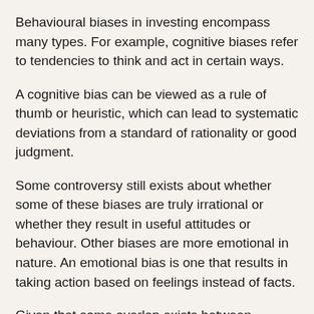Behavioural biases in investing encompass many types. For example, cognitive biases refer to tendencies to think and act in certain ways.
A cognitive bias can be viewed as a rule of thumb or heuristic, which can lead to systematic deviations from a standard of rationality or good judgment.
Some controversy still exists about whether some of these biases are truly irrational or whether they result in useful attitudes or behaviour. Other biases are more emotional in nature. An emotional bias is one that results in taking action based on feelings instead of facts.
Given that some overlap exists between cognitive and emotional biases, we simply call them behavioural biases. An important aspect of avoiding such biases is to become aware of them. Thus, by avoiding behavioural biases investors can more readily reach impartial decisions based